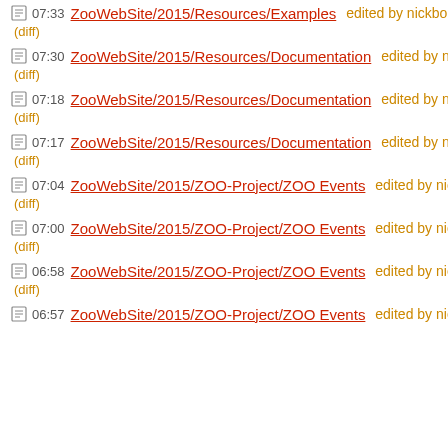07:33 ZooWebSite/2015/Resources/Examples edited by nickbo...
(diff)
07:30 ZooWebSite/2015/Resources/Documentation edited by ni...
(diff)
07:18 ZooWebSite/2015/Resources/Documentation edited by ni...
(diff)
07:17 ZooWebSite/2015/Resources/Documentation edited by ni...
(diff)
07:04 ZooWebSite/2015/ZOO-Project/ZOO Events edited by nic...
(diff)
07:00 ZooWebSite/2015/ZOO-Project/ZOO Events edited by nic...
(diff)
06:58 ZooWebSite/2015/ZOO-Project/ZOO Events edited by nic...
(diff)
06:57 ZooWebSite/2015/ZOO-Project/ZOO Events edited by nic...